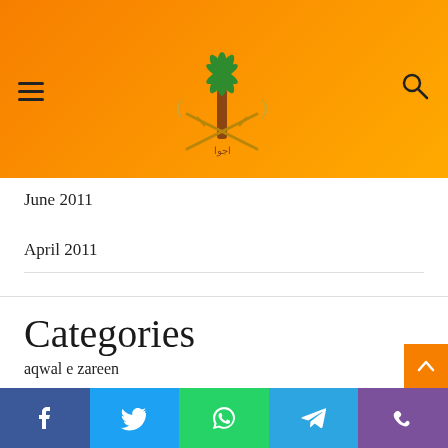Site header with logo, menu icon, and search icon
June 2011
April 2011
Categories
aqwal e zareen
Arcade Games
baked chicken recipes
beauty tips in urdu
beef recipes